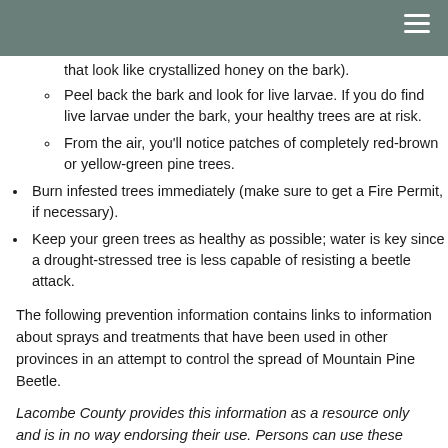that look like crystallized honey on the bark).
Peel back the bark and look for live larvae. If you do find live larvae under the bark, your healthy trees are at risk.
From the air, you'll notice patches of completely red-brown or yellow-green pine trees.
Burn infested trees immediately (make sure to get a Fire Permit, if necessary).
Keep your green trees as healthy as possible; water is key since a drought-stressed tree is less capable of resisting a beetle attack.
The following prevention information contains links to information about sprays and treatments that have been used in other provinces in an attempt to control the spread of Mountain Pine Beetle.
Lacombe County provides this information as a resource only and is in no way endorsing their use. Persons can use these chemicals on their private lands as per instruction, at their own risk and cost. These are potent chemicals that do have inherent health risks for all humans, in particular children...